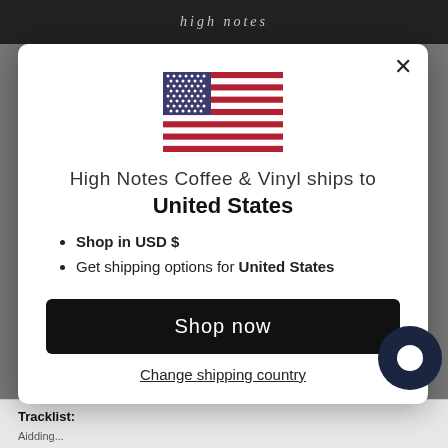high notes
[Figure (illustration): US flag emoji/icon — red and white stripes with blue canton and white stars]
High Notes Coffee & Vinyl ships to
United States
Shop in USD $
Get shipping options for United States
Shop now
Change shipping country
Tracklist: